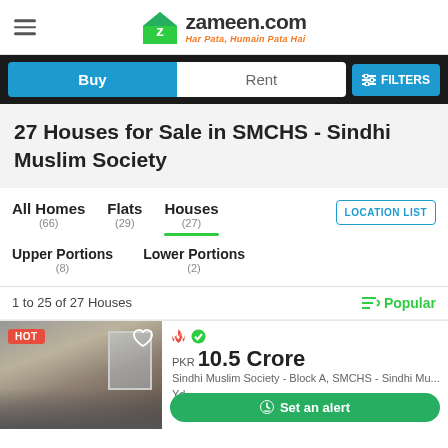zameen.com — Har Pata, Humain Pata Hai
Buy | Rent | FILTERS
27 Houses for Sale in SMCHS - Sindhi Muslim Society
All Homes (66)
Flats (29)
Houses (27)
LOCATION LIST
Upper Portions (8)
Lower Portions (2)
1 to 25 of 27 Houses
Popular
HOT — PKR 10.5 Crore — Sindhi Muslim Society - Block A, SMCHS - Sindhi Mu... — Set an alert — Yd.